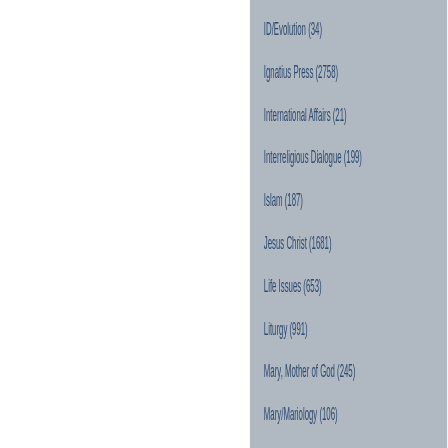Exc
fro
the
boo
can
be
rea
on this wel whi
ID/Evolution (34)
Ignatius Press (2758)
International Affairs (21)
Interreligious Dialogue (199)
Islam (187)
Jesus Christ (1681)
Life Issues (653)
Liturgy (991)
Mary, Mother of God (245)
Mary/Mariology (106)
Media (654)
Music (192)
New Evangelization (106)
New Releases (1541)
Philosophy (1201)
Politics (2000+)